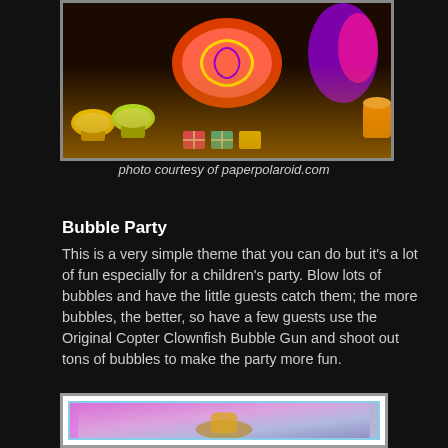[Figure (photo): Colorful party table with cupcakes, decorations, and festive items in bright yellows, greens, reds, and purples against a dark background]
photo courtesy of paperpolaroid.com
Bubble Party
This is a very simple theme that you can do but it’s a lot of fun especially for a children’s party. Blow lots of bubbles and have the little guests catch them; the more bubbles, the better, so have a few guests use the Original Copter Clownfish Bubble Gun and shoot out tons of bubbles to make the party more fun.
[Figure (photo): A colorful bubble gun toy (clownfish design) against a purple and pink glowing background]